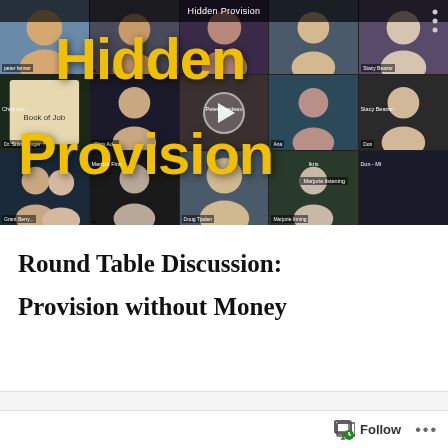[Figure (screenshot): Video thumbnail for 'Hidden Provision' round table discussion showing a grid of video call participants with large yellow 'Hidden Provision' text overlay and a play button in the center]
Round Table Discussion:

Provision without Money
[Figure (screenshot): Partially visible content below, cut off at bottom of page]
Follow ...